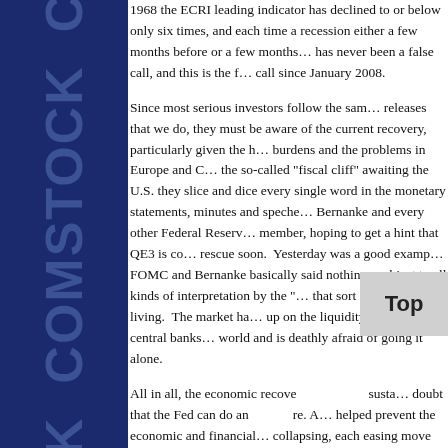[Figure (other): Dark navy blue sidebar with 'COMSTOCK' text repeated vertically in large semi-transparent letters]
1968 the ECRI leading indicator has declined to or below only six times, and each time a recession either a few months before or a few months after has never been a false call, and this is the first call since January 2008.
Since most serious investors follow the same releases that we do, they must be aware of the current recovery, particularly given the heavy burdens and the problems in Europe and China, the so-called "fiscal cliff" awaiting the U.S. they slice and dice every single word in the monetary statements, minutes and speeches, Bernanke and every other Federal Reserve member, hoping to get a hint that QE3 is coming to rescue soon. Yesterday was a good example; the FOMC and Bernanke basically said nothing, but was subject to all kinds of interpretation by the "experts" that sort of thing for a living. The market has grown up on the liquidity provided by central banks around the world and is deathly afraid of going it alone.
All in all, the economic recovery is not sustainable. doubt that the Fed can do anything more. Although helped prevent the economic and financial system collapsing, each easing move after that has